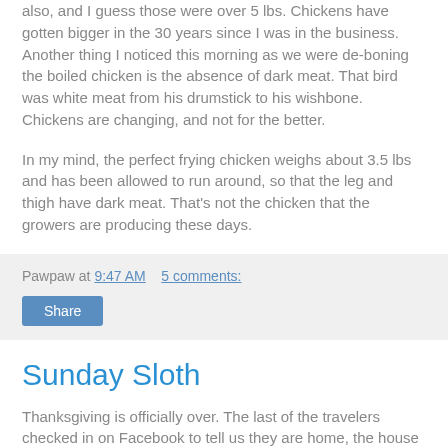also, and I guess those were over 5 lbs. Chickens have gotten bigger in the 30 years since I was in the business. Another thing I noticed this morning as we were de-boning the boiled chicken is the absence of dark meat. That bird was white meat from his drumstick to his wishbone. Chickens are changing, and not for the better.
In my mind, the perfect frying chicken weighs about 3.5 lbs and has been allowed to run around, so that the leg and thigh have dark meat. That's not the chicken that the growers are producing these days.
Pawpaw at 9:47 AM    5 comments:
Share
Sunday Sloth
Thanksgiving is officially over. The last of the travelers checked in on Facebook to tell us they are home, the house is quiet, and PawPaw is enjoying his third cup of coffee. It's a